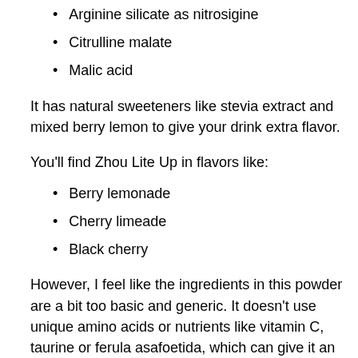Arginine silicate as nitrosigine
Citrulline malate
Malic acid
It has natural sweeteners like stevia extract and mixed berry lemon to give your drink extra flavor.
You'll find Zhou Lite Up in flavors like:
Berry lemonade
Cherry limeade
Black cherry
However, I feel like the ingredients in this powder are a bit too basic and generic. It doesn't use unique amino acids or nutrients like vitamin C, taurine or ferula asafoetida, which can give it an edge over other products.